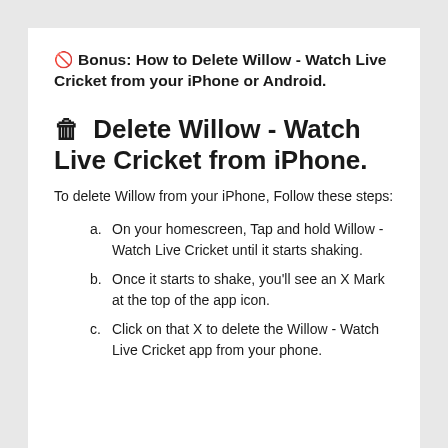🚫 Bonus: How to Delete Willow - Watch Live Cricket from your iPhone or Android.
🗑 Delete Willow - Watch Live Cricket from iPhone.
To delete Willow from your iPhone, Follow these steps:
a. On your homescreen, Tap and hold Willow - Watch Live Cricket until it starts shaking.
b. Once it starts to shake, you'll see an X Mark at the top of the app icon.
c. Click on that X to delete the Willow - Watch Live Cricket app from your phone.